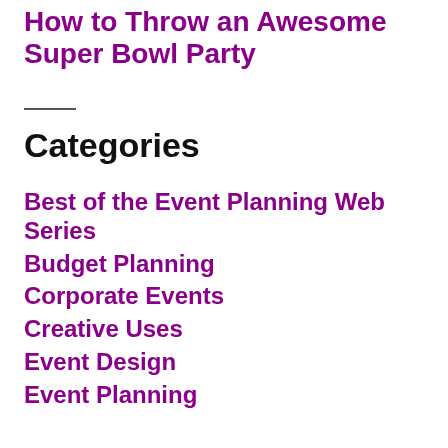How to Throw an Awesome Super Bowl Party
Categories
Best of the Event Planning Web Series
Budget Planning
Corporate Events
Creative Uses
Event Design
Event Planning